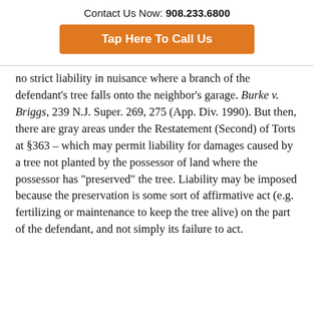Contact Us Now: 908.233.6800
Tap Here To Call Us
no strict liability in nuisance where a branch of the defendant’s tree falls onto the neighbor’s garage. Burke v. Briggs, 239 N.J. Super. 269, 275 (App. Div. 1990). But then, there are gray areas under the Restatement (Second) of Torts at §363 – which may permit liability for damages caused by a tree not planted by the possessor of land where the possessor has “preserved” the tree. Liability may be imposed because the preservation is some sort of affirmative act (e.g. fertilizing or maintenance to keep the tree alive) on the part of the defendant, and not simply its failure to act.